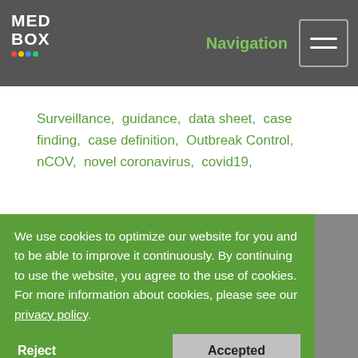MED BOX Navigation
Surveillance, guidance, data sheet, case finding, case definition, Outbreak Control, nCOV, novel coronavirus, covid19,
Source: https://www.who.int/publications-detail/global-surveillance-for-human-infection-with-(2019)
We use cookies to optimize our website for you and to be able to improve it continuously. By continuing to use the website, you agree to the use of cookies. For more information about cookies, please see our privacy policy.
HOME CONTACT LEGAL NOTICE FAQ ABOUT SITEMAP